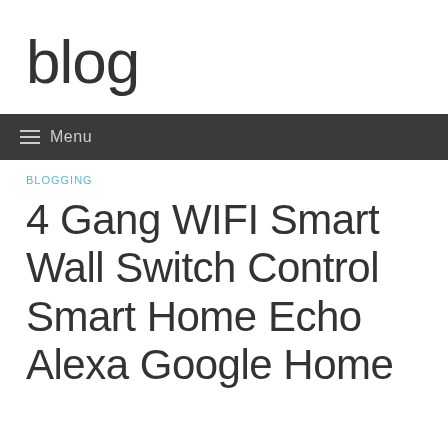blog
☰ Menu
BLOGGING
4 Gang WIFI Smart Wall Switch Control Smart Home Echo Alexa Google Home